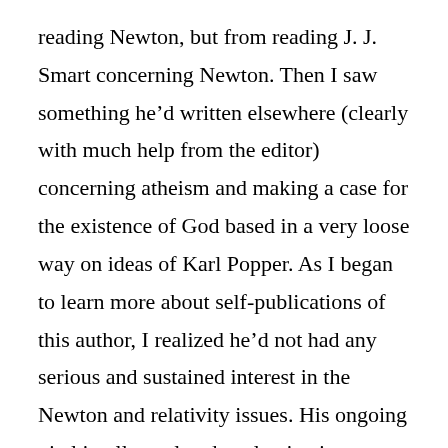reading Newton, but from reading J. J. Smart concerning Newton. Then I saw something he’d written elsewhere (clearly with much help from the editor) concerning atheism and making a case for the existence of God based in a very loose way on ideas of Karl Popper. As I began to learn more about self-publications of this author, I realized he’d not had any serious and sustained interest in the Newton and relativity issues. His ongoing vital intellectual and evaluative issue was God and atheism. Why on earth had he beat around the bush with me? He could have written about that for my journal straight out, and I’d of